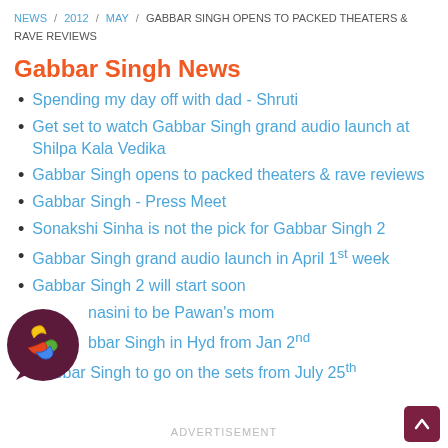NEWS / 2012 / MAY / GABBAR SINGH OPENS TO PACKED THEATERS & RAVE REVIEWS
Gabbar Singh News
Spending my day off with dad - Shruti
Get set to watch Gabbar Singh grand audio launch at Shilpa Kala Vedika
Gabbar Singh opens to packed theaters & rave reviews
Gabbar Singh - Press Meet
Sonakshi Sinha is not the pick for Gabbar Singh 2
Gabbar Singh grand audio launch in April 1st week
Gabbar Singh 2 will start soon
...nasini to be Pawan's mom
...bbar Singh in Hyd from Jan 2nd
Gabbar Singh to go on the sets from July 25th
ADVERTISEMENT